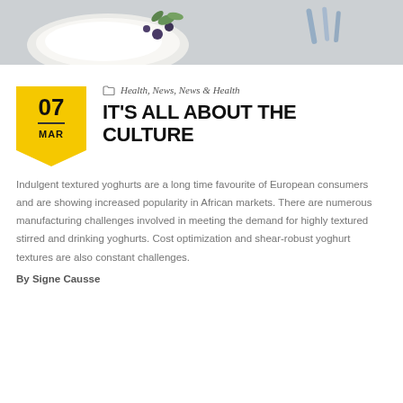[Figure (photo): Top banner photo of yoghurt with blueberries and mint garnish, partially visible from above]
Health, News, News & Health
IT'S ALL ABOUT THE CULTURE
Indulgent textured yoghurts are a long time favourite of European consumers and are showing increased popularity in African markets. There are numerous manufacturing challenges involved in meeting the demand for highly textured stirred and drinking yoghurts. Cost optimization and shear-robust yoghurt textures are also constant challenges.
By Signe Causse